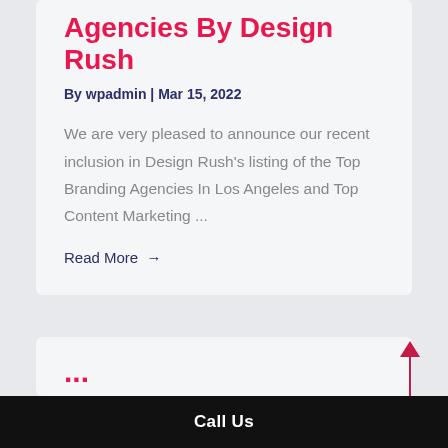Agencies By Design Rush
By wpadmin | Mar 15, 2022
We are very pleased to announce our recent inclusion in Design Rush's listing of the Top Branding Agencies In Los Angeles and Top Content Marketing ...
Read More →
...
Call Us